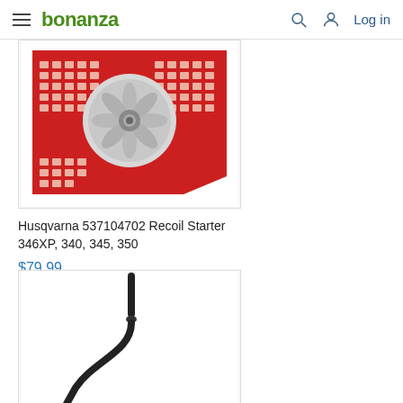bonanza — Log in
[Figure (photo): Husqvarna recoil starter part — red plastic housing with grid ventilation pattern and silver centrifugal mechanism in center]
Husqvarna 537104702 Recoil Starter 346XP, 340, 345, 350
$79.99
[Figure (photo): Flexible cable or wire component with a small cylindrical end cap, curved snake-like shape against white background]